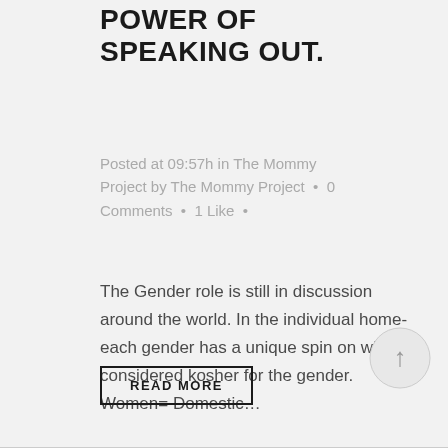POWER OF SPEAKING OUT.
Posted at 09:57h in The Mommy Project by The Mommy Project • 0 Comments • 1 Like •
The Gender role is still in discussion around the world. In the individual home- each gender has a unique spin on what is considered kosher for the gender. Women= Domestic...
READ MORE